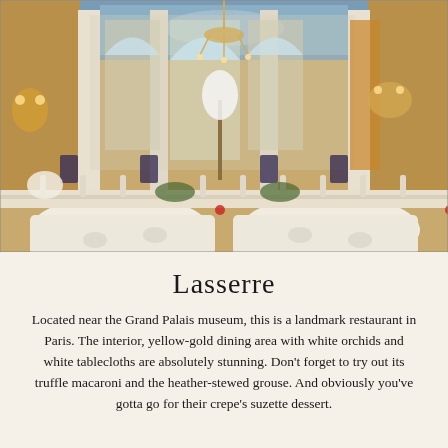[Figure (photo): Interior of Lasserre restaurant in Paris showing an elegant dining room with yellow-gold walls, white tablecloths, chandeliers, arched windows, white orchid floral arrangements, and a blue painted ceiling.]
Lasserre
Located near the Grand Palais museum, this is a landmark restaurant in Paris. The interior, yellow-gold dining area with white orchids and white tablecloths are absolutely stunning. Don't forget to try out its truffle macaroni and the heather-stewed grouse. And obviously you've gotta go for their crepe's suzette dessert.